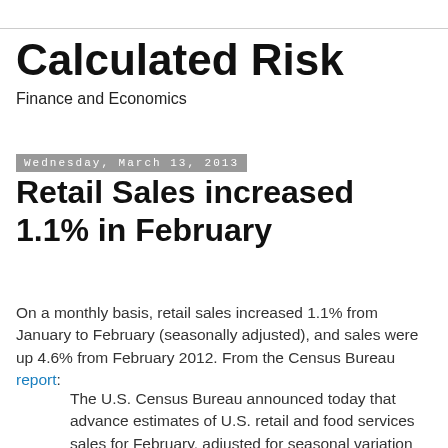Calculated Risk
Finance and Economics
Wednesday, March 13, 2013
Retail Sales increased 1.1% in February
On a monthly basis, retail sales increased 1.1% from January to February (seasonally adjusted), and sales were up 4.6% from February 2012. From the Census Bureau report:
The U.S. Census Bureau announced today that advance estimates of U.S. retail and food services sales for February, adjusted for seasonal variation and holiday and trading-day differences, but not for price changes, were $421.4 billion, an increase of 1.1 percent from the